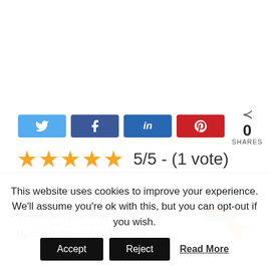[Figure (other): Social share buttons: Twitter (light blue), Facebook (dark blue), LinkedIn (medium blue), Pinterest (red), and a share count showing 0 SHARES]
5/5 - (1 vote)
Name: CM Launcher 3D Pro Apk.
Developer: Launcher 3D Pro
Updated: November 17, 2016
[Figure (logo): CM Launcher 3D Pro app icon showing a blue Pro badge with crown and orange arrow logo]
This website uses cookies to improve your experience. We'll assume you're ok with this, but you can opt-out if you wish.
Accept  Reject  Read More